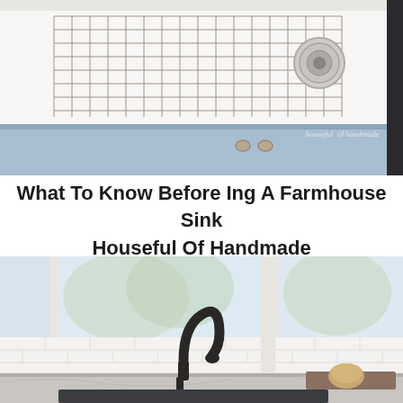[Figure (photo): Close-up top view of a white farmhouse sink with a metal grid rack inside and a stainless drain at the right. The front apron of the sink is blue/grey. A watermark reads 'houseful of handmade .com'. The photo is cropped at the top.]
What To Know Before Ing A Farmhouse Sink Houseful Of Handmade
[Figure (photo): Kitchen scene with a white farmhouse sink viewed from slightly above and the front. A matte black gooseneck faucet is centered. White subway tile backsplash. Two windows with natural light showing green trees outside. A wooden cutting board and a round bread loaf sit on a marble counter to the right. The sink basin appears dark/black.]